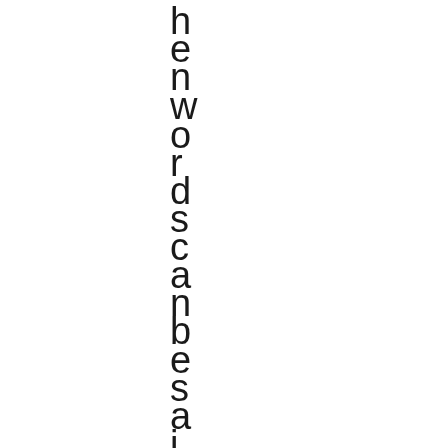h
e
n
w
o
r
d
s
c
a
n
b
e
s
a
i